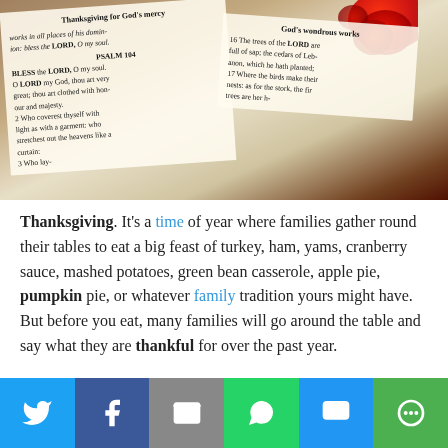[Figure (photo): Open Bible showing Psalm 104 pages with red berries and autumn decoration in background]
Thanksgiving. It's a time of year where families gather round their tables to eat a big feast of turkey, ham, yams, cranberry sauce, mashed potatoes, green bean casserole, apple pie, pumpkin pie, or whatever family tradition yours might have. But before you eat, many families will go around the table and say what they are thankful for over the past year.
Five years ago on this very day I remember how hard it was for me on that first Thanksgiving with Mari gone. (Click here to view the post from that year.) I didn't want to go over to my husband's mom and dad's house with all of his brothers and sisters there with their husbands and children. I knew they'd want to do the tradition of saying what they were thankful for and to be blunt, I didn't want to hear them. The grief I felt over losing my daughter was so acute that I could find anything to be thankful for. I felt like if I was thankful then I was...